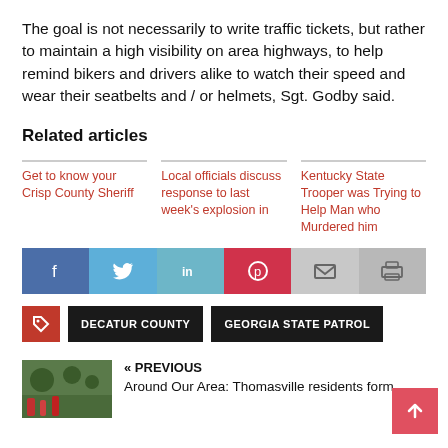The goal is not necessarily to write traffic tickets, but rather to maintain a high visibility on area highways, to help remind bikers and drivers alike to watch their speed and wear their seatbelts and / or helmets, Sgt. Godby said.
Related articles
Get to know your Crisp County Sheriff
Local officials discuss response to last week's explosion in
Kentucky State Trooper was Trying to Help Man who Murdered him
[Figure (infographic): Social share buttons: Facebook, Twitter, LinkedIn, Pinterest, Email, Print]
DECATUR COUNTY
GEORGIA STATE PATROL
« PREVIOUS
Around Our Area: Thomasville residents form